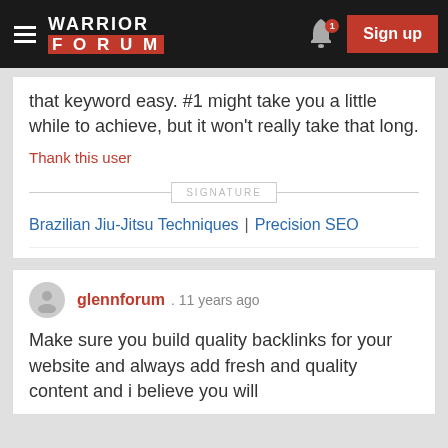Warrior Forum - Sign up
that keyword easy. #1 might take you a little while to achieve, but it won't really take that long.
Thank this user
SIGNATURE
Brazilian Jiu-Jitsu Techniques | Precision SEO
glennforum . 11 years ago
Make sure you build quality backlinks for your website and always add fresh and quality content and i believe you will